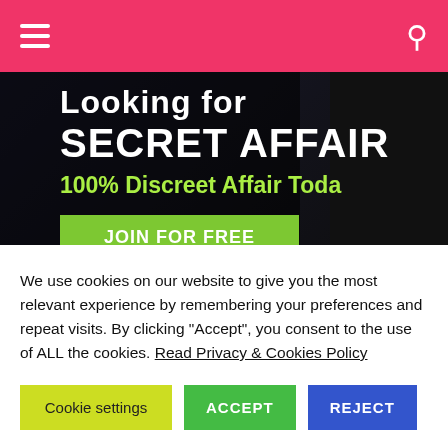Navigation bar with hamburger menu and search icon
[Figure (photo): Advertisement banner with dark background showing 'Looking for SECRET AFFAIR 100% Discreet Affair Today' with a green JOIN FOR FREE button]
Sign up for new posts
Enter your email address to subscribe to this blog and receive notifications of new posts by email.
We use cookies on our website to give you the most relevant experience by remembering your preferences and repeat visits. By clicking “Accept”, you consent to the use of ALL the cookies. Read Privacy & Cookies Policy
Cookie settings | ACCEPT | REJECT